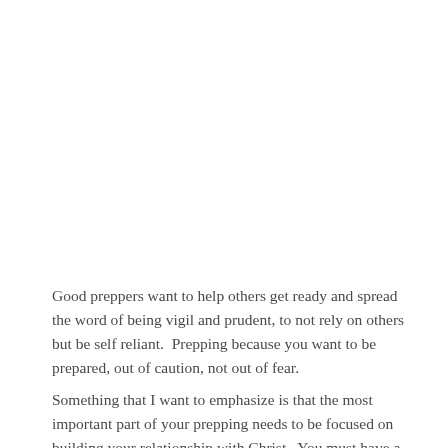Good preppers want to help others get ready and spread the word of being vigil and prudent, to not rely on others but be self reliant.  Prepping because you want to be prepared, out of caution, not out of fear.
Something that I want to emphasize is that the most important part of your prepping needs to be focused on building your relationship with Christ.  You must have a good faith base to